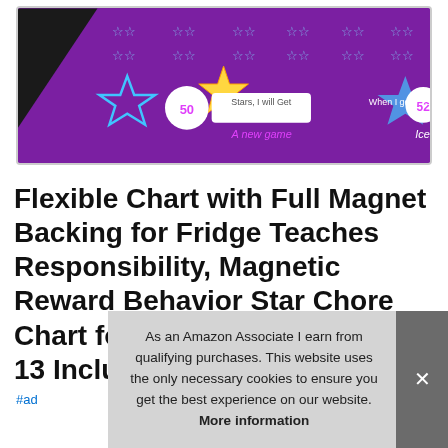[Figure (photo): Product image of a purple magnetic star chore reward chart for kids with star icons, goal reward boxes showing 50 stars for 'a new game' and 52 stars for 'Ice cream']
Flexible Chart with Full Magnet Backing for Fridge Teaches Responsibility, Magnetic Reward Behavior Star Chore Chart for One or Two Kids 17 x 13 Includes: 2 Color Dry Era
#ad
As an Amazon Associate I earn from qualifying purchases. This website uses the only necessary cookies to ensure you get the best experience on our website. More information